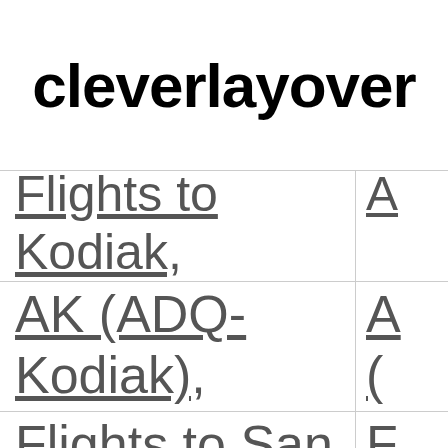cleverlayover
Flights to Kodiak, AK (ADQ-Kodiak)
Flights to San Andres, Colombia (ADZ-San Andres)